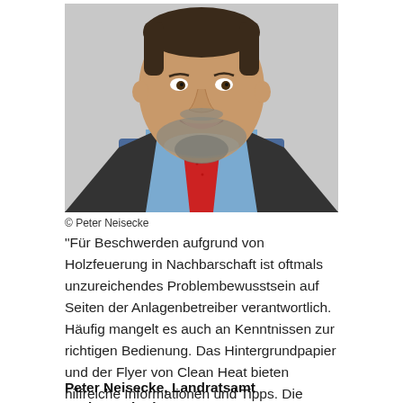[Figure (photo): Portrait photo of a man with a beard wearing a dark blazer, light blue shirt, and red tie, smiling, against a light grey background.]
© Peter Neisecke
"Für Beschwerden aufgrund von Holzfeuerung in Nachbarschaft ist oftmals unzureichendes Problembewusstsein auf Seiten der Anlagenbetreiber verantwortlich. Häufig mangelt es auch an Kenntnissen zur richtigen Bedienung. Das Hintergrundpapier und der Flyer von Clean Heat bieten hilfreiche Informationen und Tipps. Die Materialien sind sachlich, verständlich und zeigen die wesentlichen Probleme auf."
Peter Neisecke, Landratsamt Bodenseekreis